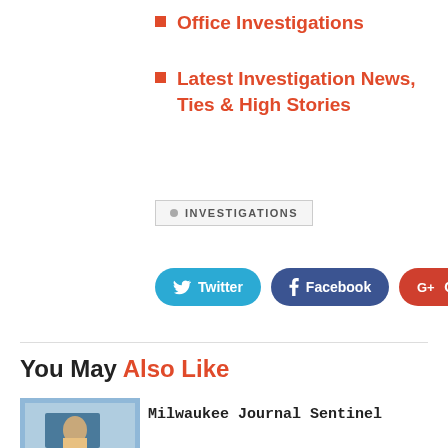Office Investigations
Latest Investigation News, Ties & High Stories
INVESTIGATIONS
Twitter  Facebook  Google+
You May Also Like
Milwaukee Journal Sentinel
[Figure (photo): Thumbnail image showing a news broadcast scene with social media overlay]
Office Investigations
[Figure (photo): Thumbnail image showing a man labeled IIU REPORT with news chyron]